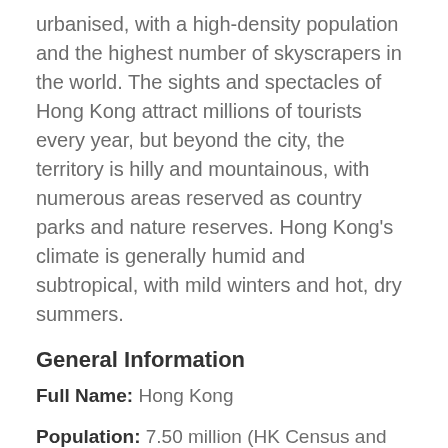urbanised, with a high-density population and the highest number of skyscrapers in the world. The sights and spectacles of Hong Kong attract millions of tourists every year, but beyond the city, the territory is hilly and mountainous, with numerous areas reserved as country parks and nature reserves. Hong Kong's climate is generally humid and subtropical, with mild winters and hot, dry summers.
General Information
Full Name: Hong Kong
Population: 7.50 million (HK Census and Statistics Department, 2018)
Major Language: Mandarin, English
Major Religion: Buddhism, Taoism